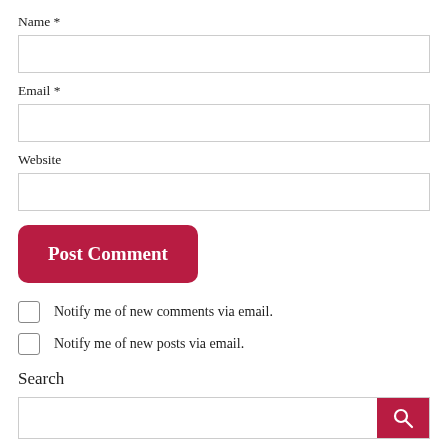Name *
Email *
Website
Post Comment
Notify me of new comments via email.
Notify me of new posts via email.
Search